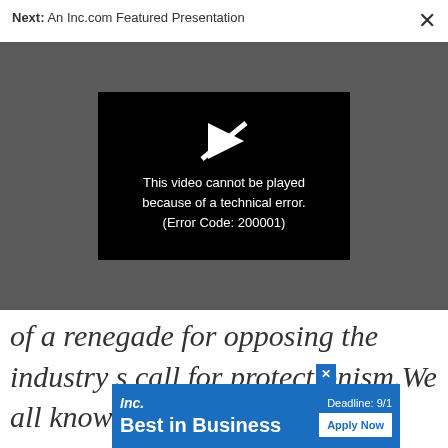Next: An Inc.com Featured Presentation
[Figure (screenshot): Video player showing error message: 'This video cannot be played because of a technical error. (Error Code: 200001)' with a play icon with a slash through it on a dark grey background]
of a renegade for opposing the industry s call for protectionism.We all know the general arguments against trade barriers. But why not a
[Figure (other): Inc. Best in Business advertisement banner with 'Deadline: 9/1' and 'Apply Now' button]